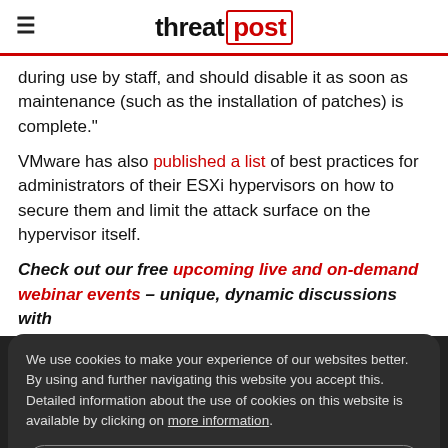threat post
during use by staff, and should disable it as soon as maintenance (such as the installation of patches) is complete."
VMware has also published a list of best practices for administrators of their ESXi hypervisors on how to secure them and limit the attack surface on the hypervisor itself.
Check out our free upcoming live and on-demand webinar events – unique, dynamic discussions with
We use cookies to make your experience of our websites better. By using and further navigating this website you accept this. Detailed information about the use of cookies on this website is available by clicking on more information.
ACCEPT AND CLOSE